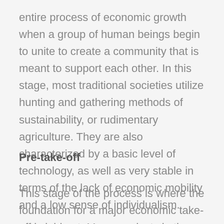entire process of economic growth when a group of human beings begin to unite to create a community that is meant to support each other. In this stage, most traditional societies utilize hunting and gathering methods of sustainability, or rudimentary agriculture. They are also characterized by a basic level of technology, as well as very stable in terms of the lack of economic mobility and a low sense of individualism.
Pre-take-off
This stage of the process is where the foundation for a major economic take-off is laid out. Many products in the